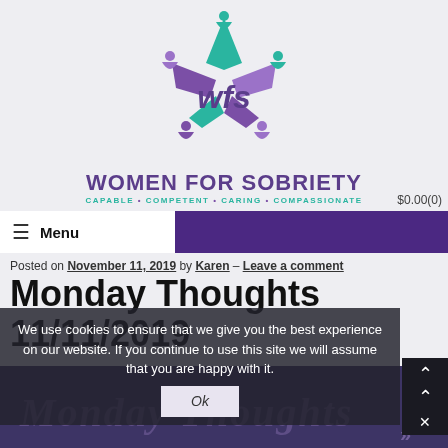[Figure (logo): Women for Sobriety (WFS) logo with teal and purple stylized figures forming a star shape, with 'wfs' text in purple]
WOMEN FOR SOBRIETY
CAPABLE • COMPETENT • CARING • COMPASSIONATE
$0.00(0)
≡ Menu
Posted on November 11, 2019 by Karen – Leave a comment
Monday Thoughts
11/11/2019
We use cookies to ensure that we give you the best experience on our website. If you continue to use this site we will assume that you are happy with it.
Ok
[Figure (illustration): Dark purple decorative background image with italic text 'Monday Thoughts' partially visible]